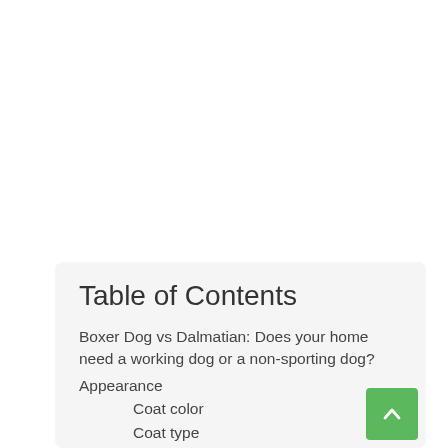Table of Contents
Boxer Dog vs Dalmatian: Does your home need a working dog or a non-sporting dog?
Appearance
Coat color
Coat type
Size and weight
Overall features
Temperament
Boxer
Dalmatian
Health
Boxer dog potential health issues